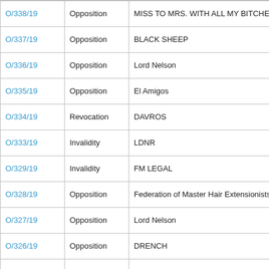| Reference | Type | Name | UK... |
| --- | --- | --- | --- |
| O/338/19 | Opposition | MISS TO MRS. WITH ALL MY BITCHES | UKO |
| O/337/19 | Opposition | BLACK SHEEP | UKO |
| O/336/19 | Opposition | Lord Nelson | UKO |
| O/335/19 | Opposition | El Amigos | UKO |
| O/334/19 | Revocation | DAVROS | UKO |
| O/333/19 | Invalidity | LDNR | UKO |
| O/329/19 | Invalidity | FM LEGAL | UKO |
| O/328/19 | Opposition | Federation of Master Hair Extensionists | UKO |
| O/327/19 | Opposition | Lord Nelson | UKO |
| O/326/19 | Opposition | DRENCH | UKO |
| O/322/19 | Opposition | SECURICOR | UKO |
| O/321/19 | Opposition | ULTIM8 | UKO |
| O/320/19 | Opposition | The Organised Mum | UKO |
| O/317/19 | Opposition | Device | UKO |